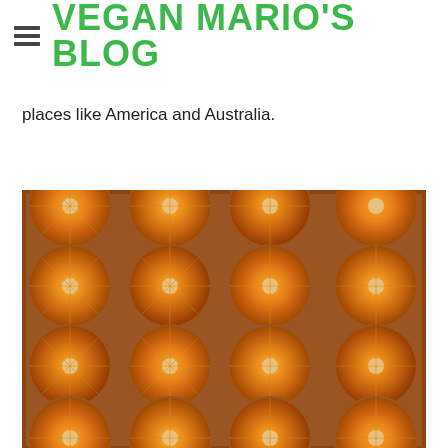VEGAN MARIO'S BLOG
as "Diseases of Affluence" since they aren't nearly as prevalent in third world countries as they are in places like America and Australia.
[Figure (photo): Overhead view of many halved oranges arranged in rows on a wooden tray, showing the cross-section with segments and centers visible.]